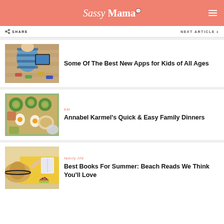Sassy Mama
SHARE  NEXT ARTICLE
[Figure (photo): Child playing with toy cars and tablet on wooden floor, viewed from above]
Some Of The Best New Apps for Kids of All Ages
[Figure (photo): Overhead view of a tray of food with avocados, eggs, and salads]
eat
Annabel Karmel's Quick & Easy Family Dinners
[Figure (photo): Woman reading a book on the beach wearing a sun hat, with watermelon nearby]
family life
Best Books For Summer: Beach Reads We Think You'll Love